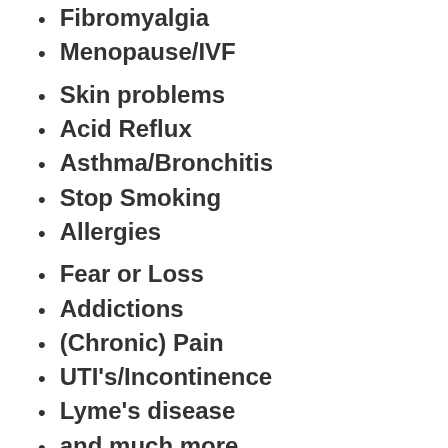Fibromyalgia
Menopause/IVF
Skin problems
Acid Reflux
Asthma/Bronchitis
Stop Smoking
Allergies
Fear or Loss
Addictions
(Chronic) Pain
UTI's/Incontinence
Lyme's disease
and much more...